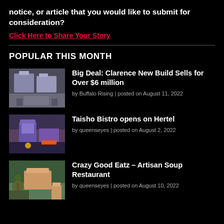notice, or article that you would like to submit for consideration?
Click Here to Share Your Story
POPULAR THIS MONTH
Big Deal: Clarence New Build Sells for Over $6 million | by Buffalo Rising | posted on August 11, 2022
Taisho Bistro opens on Hertel | by queenseyes | posted on August 2, 2022
Crazy Good Eatz – Artisan Soup Restaurant | by queenseyes | posted on August 10, 2022